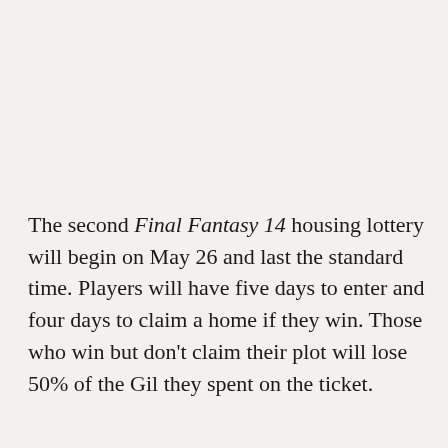The second Final Fantasy 14 housing lottery will begin on May 26 and last the standard time. Players will have five days to enter and four days to claim a home if they win. Those who win but don't claim their plot will lose 50% of the Gil they spent on the ticket.